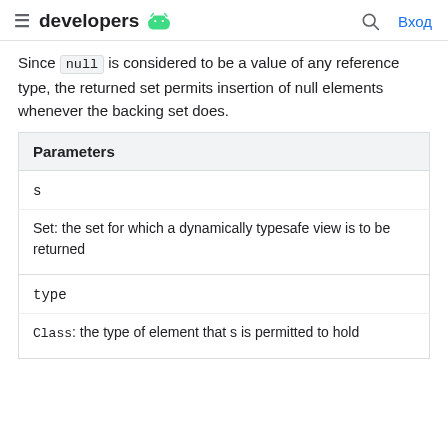developers [android logo]  [search]  Вход
Since null is considered to be a value of any reference type, the returned set permits insertion of null elements whenever the backing set does.
| Parameters |
| --- |
| s | Set: the set for which a dynamically typesafe view is to be returned |
| type | Class: the type of element that s is permitted to hold |